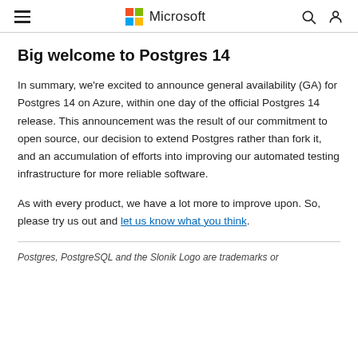Microsoft
Big welcome to Postgres 14
In summary, we're excited to announce general availability (GA) for Postgres 14 on Azure, within one day of the official Postgres 14 release. This announcement was the result of our commitment to open source, our decision to extend Postgres rather than fork it, and an accumulation of efforts into improving our automated testing infrastructure for more reliable software.
As with every product, we have a lot more to improve upon. So, please try us out and let us know what you think.
Postgres, PostgreSQL and the Slonik Logo are trademarks or